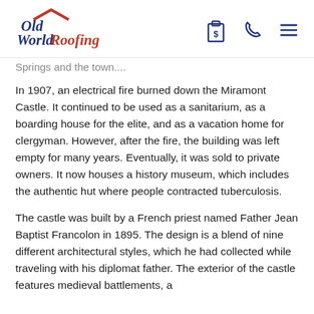Old World Roofing [logo with icons]
Springs and the town....
In 1907, an electrical fire burned down the Miramont Castle. It continued to be used as a sanitarium, as a boarding house for the elite, and as a vacation home for clergyman. However, after the fire, the building was left empty for many years. Eventually, it was sold to private owners. It now houses a history museum, which includes the authentic hut where people contracted tuberculosis.
The castle was built by a French priest named Father Jean Baptist Francolon in 1895. The design is a blend of nine different architectural styles, which he had collected while traveling with his diplomat father. The exterior of the castle features medieval battlements, a